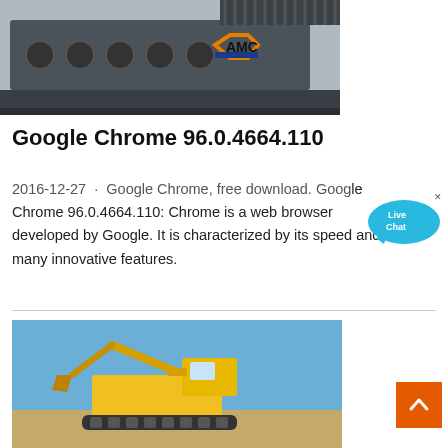[Figure (photo): Industrial heavy machinery (crusher/vibrating screen) with AMC logo overlay]
Google Chrome 96.0.4664.110
2016-12-27 · Google Chrome, free download. Google Chrome 96.0.4664.110: Chrome is a web browser developed by Google. It is characterized by its speed and many innovative features.
[Figure (photo): Yellow excavator working on a construction/mining site under blue sky]